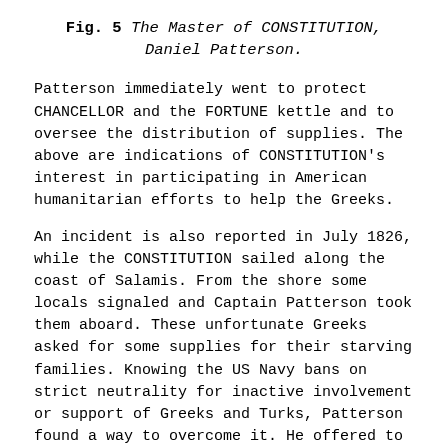Fig. 5 The Master of CONSTITUTION, Daniel Patterson.
Patterson immediately went to protect CHANCELLOR and the FORTUNE kettle and to oversee the distribution of supplies. The above are indications of CONSTITUTION’s interest in participating in American humanitarian efforts to help the Greeks.
An incident is also reported in July 1826, while the CONSTITUTION sailed along the coast of Salamis. From the shore some locals signaled and Captain Patterson took them aboard. These unfortunate Greeks asked for some supplies for their starving families. Knowing the US Navy bans on strict neutrality for inactive involvement or support of Greeks and Turks, Patterson found a way to overcome it. He offered to give a quantity